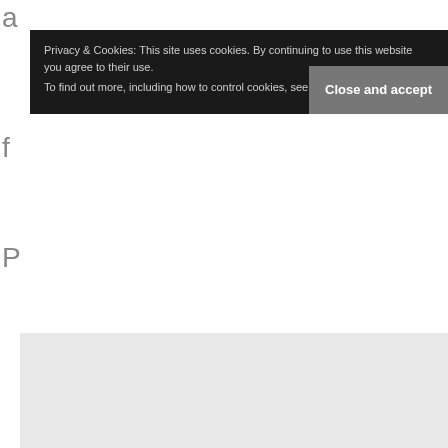a
f
P
Privacy & Cookies: This site uses cookies. By continuing to use this website you agree to their use. To find out more, including how to control cookies, see here: Cookie Policy
view was that the filter was removed in complete good faith and that it would be inappropriate to impose any penalty whatsoever'